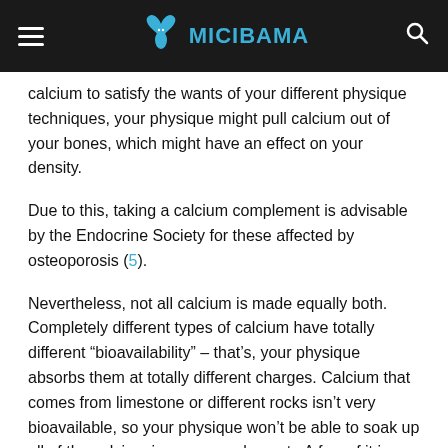MICIBAMA
calcium to satisfy the wants of your different physique techniques, your physique might pull calcium out of your bones, which might have an effect on your density.
Due to this, taking a calcium complement is advisable by the Endocrine Society for these affected by osteoporosis (5).
Nevertheless, not all calcium is made equally both. Completely different types of calcium have totally different “bioavailability” – that’s, your physique absorbs them at totally different charges. Calcium that comes from limestone or different rocks isn’t very bioavailable, so your physique won’t be able to soak up all of the calcium in your complement.  A few of it is going to be wasted.
Chelated calcium and calcium that comes from vegetation